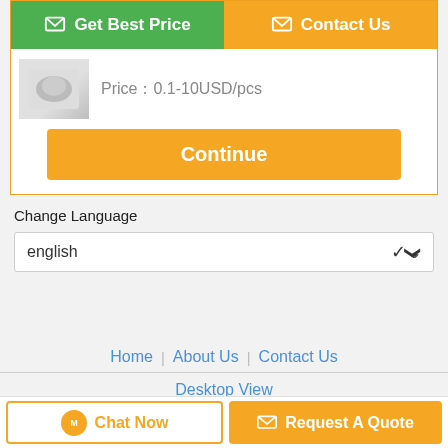[Figure (screenshot): Get Best Price green button and Contact Us orange button at top]
Price：0.1-10USD/pcs
Continue
Change Language
english
Home | About Us | Contact Us
Desktop View
Copyright © 2019 - 2022 thermazig.com. All rights reserved.
Chat Now
Request A Quote